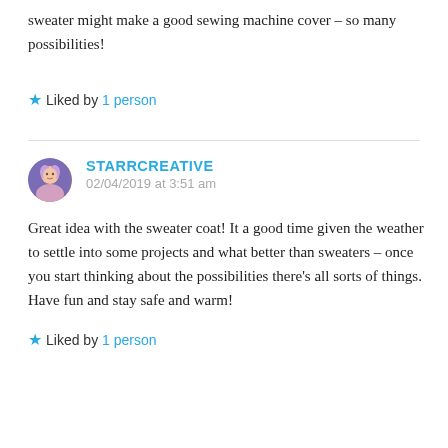sweater might make a good sewing machine cover – so many possibilities!
Liked by 1 person
STARRCREATIVE
02/04/2019 at 3:51 am
Great idea with the sweater coat! It a good time given the weather to settle into some projects and what better than sweaters – once you start thinking about the possibilities there's all sorts of things. Have fun and stay safe and warm!
Liked by 1 person